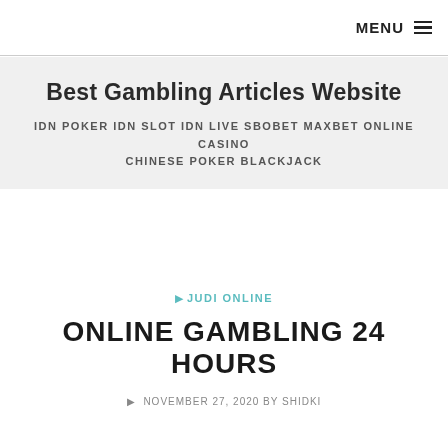MENU
Best Gambling Articles Website
IDN POKER IDN SLOT IDN LIVE SBOBET MAXBET ONLINE CASINO CHINESE POKER BLACKJACK
JUDI ONLINE
ONLINE GAMBLING 24 HOURS
NOVEMBER 27, 2020 BY SHIDKI